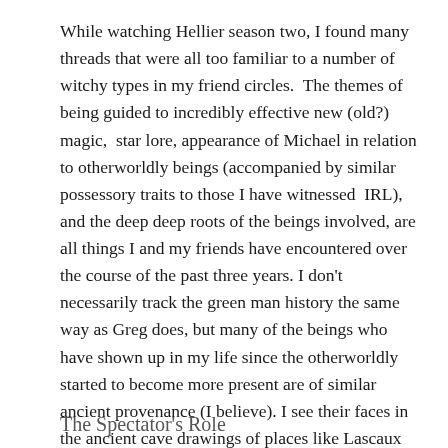While watching Hellier season two, I found many threads that were all too familiar to a number of witchy types in my friend circles.  The themes of being guided to incredibly effective new (old?) magic,  star lore, appearance of Michael in relation to otherworldly beings (accompanied by similar possessory traits to those I have witnessed  IRL), and the deep deep roots of the beings involved, are all things I and my friends have encountered over the course of the past three years. I don't necessarily track the green man history the same way as Greg does, but many of the beings who have shown up in my life since the otherworldly started to become more present are of similar ancient provenance (I believe). I see their faces in the ancient cave drawings of places like Lascaux as clearly as Greg did his.
The Spectator's Role